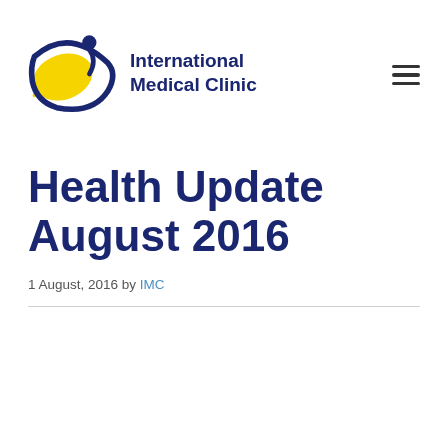[Figure (logo): International Medical Clinic logo — circular emblem with yellow sun/figure and dark blue orbit arc, beside the text 'International Medical Clinic' in dark navy bold]
Health Update August 2016
1 August, 2016 by IMC